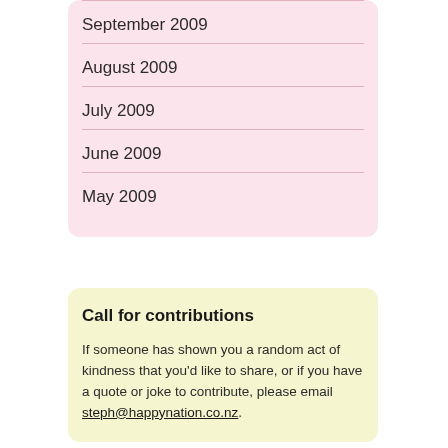September 2009
August 2009
July 2009
June 2009
May 2009
Call for contributions
If someone has shown you a random act of kindness that you'd like to share, or if you have a quote or joke to contribute, please email steph@happynation.co.nz.